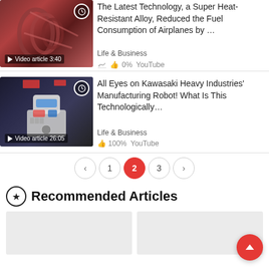[Figure (screenshot): Thumbnail image of metal coil/spring heat-resistant alloy, with clock badge top-right and video article label bottom-left showing 3:40]
The Latest Technology, a Super Heat-Resistant Alloy, Reduced the Fuel Consumption of Airplanes by ...
Life & Business
0%   YouTube
[Figure (screenshot): Thumbnail image of Kawasaki robot with white helmet-like head and colorful body, clock badge top-right, video article label bottom-left showing 26:05]
All Eyes on Kawasaki Heavy Industries' Manufacturing Robot! What Is This Technologically...
Life & Business
100%   YouTube
< 1 2 3 >
Recommended Articles